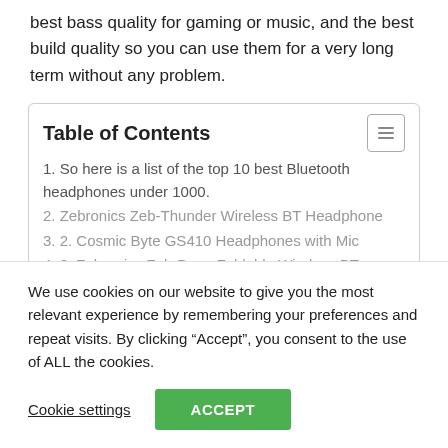best bass quality for gaming or music, and the best build quality so you can use them for a very long term without any problem.
Table of Contents
1. So here is a list of the top 10 best Bluetooth headphones under 1000.
2. Zebronics Zeb-Thunder Wireless BT Headphone
3. 2. Cosmic Byte GS410 Headphones with Mic
4. 3. Zebronics Zeb-Bang Foldable Wireless BT
We use cookies on our website to give you the most relevant experience by remembering your preferences and repeat visits. By clicking “Accept”, you consent to the use of ALL the cookies.
Cookie settings   ACCEPT